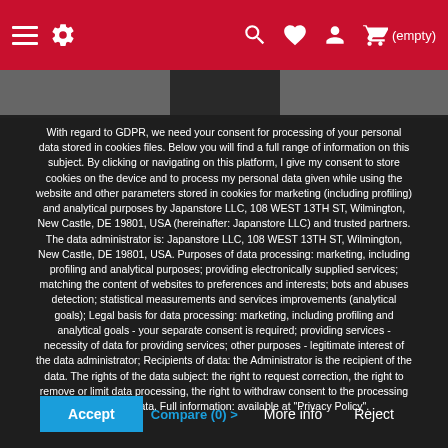Navigation bar with hamburger menu, settings, search, wishlist, account, and cart (empty) icons on red background
With regard to GDPR, we need your consent for processing of your personal data stored in cookies files. Below you will find a full range of information on this subject. By clicking or navigating on this platform, I give my consent to store cookies on the device and to process my personal data given while using the website and other parameters stored in cookies for marketing (including profiling) and analytical purposes by Japanstore LLC, 108 WEST 13TH ST, Wilmington, New Castle, DE 19801, USA (hereinafter: Japanstore LLC) and trusted partners. The data administrator is: Japanstore LLC, 108 WEST 13TH ST, Wilmington, New Castle, DE 19801, USA. Purposes of data processing: marketing, including profiling and analytical purposes; providing electronically supplied services; matching the content of websites to preferences and interests; bots and abuses detection; statistical measurements and services improvements (analytical goals); Legal basis for data processing: marketing, including profiling and analytical goals - your separate consent is required; providing services - necessity of data for providing services; other purposes - legitimate interest of the data administrator; Recipients of data: the Administrator is the recipient of the data. The rights of the data subject: the right to request correction, the right to remove or limit data processing, the right to withdraw consent to the processing of personal data. Full information: available at "Privacy Policy".